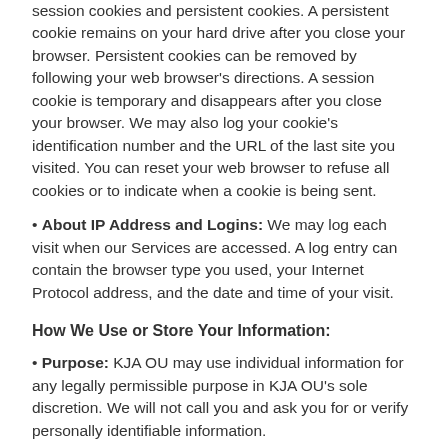session cookies and persistent cookies. A persistent cookie remains on your hard drive after you close your browser. Persistent cookies can be removed by following your web browser's directions. A session cookie is temporary and disappears after you close your browser. We may also log your cookie's identification number and the URL of the last site you visited. You can reset your web browser to refuse all cookies or to indicate when a cookie is being sent.
About IP Address and Logins: We may log each visit when our Services are accessed. A log entry can contain the browser type you used, your Internet Protocol address, and the date and time of your visit.
How We Use or Store Your Information:
Purpose: KJA OU may use individual information for any legally permissible purpose in KJA OU's sole discretion. We will not call you and ask you for or verify personally identifiable information.